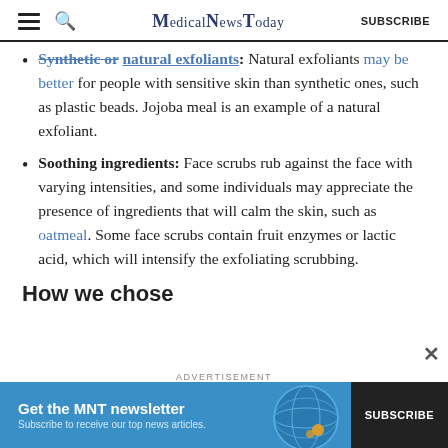MedicalNewsToday | SUBSCRIBE
Synthetic or natural exfoliants: Natural exfoliants may be better for people with sensitive skin than synthetic ones, such as plastic beads. Jojoba meal is an example of a natural exfoliant.
Soothing ingredients: Face scrubs rub against the face with varying intensities, and some individuals may appreciate the presence of ingredients that will calm the skin, such as oatmeal. Some face scrubs contain fruit enzymes or lactic acid, which will intensify the exfoliating scrubbing.
How we chose
ADVERTISEMENT
Get the MNT newsletter. Subscribe to receive our top news articles. SUBSCRIBE